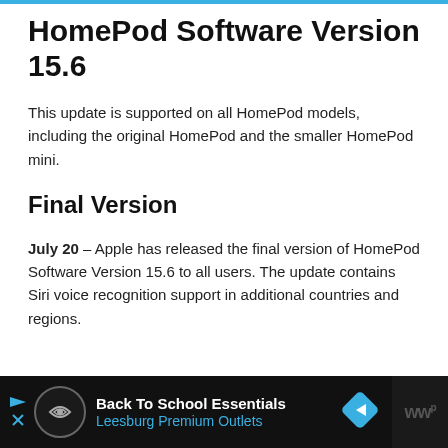HomePod Software Version 15.6
This update is supported on all HomePod models, including the original HomePod and the smaller HomePod mini.
Final Version
July 20 – Apple has released the final version of HomePod Software Version 15.6 to all users. The update contains Siri voice recognition support in additional countries and regions.
[Figure (other): Advertisement banner: Back To School Essentials – Leesburg Premium Outlets]